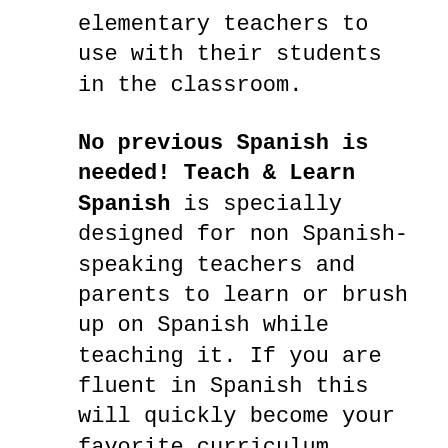elementary teachers to use with their students in the classroom.
No previous Spanish is needed! Teach & Learn Spanish is specially designed for non Spanish-speaking teachers and parents to learn or brush up on Spanish while teaching it. If you are fluent in Spanish this will quickly become your favorite curriculum because it is so organized, creative and fun! The motivational CD teaches how to correctly pronounce the words and phrases and it even teaches many of the activities for you! The lesson plan book walks you through each activity